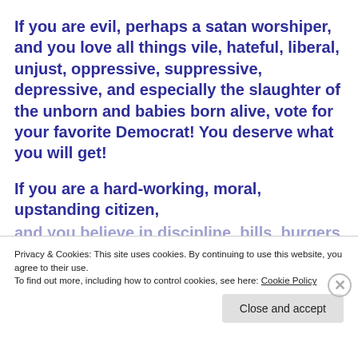If you are evil, perhaps a satan worshiper, and you love all things vile, hateful, liberal, unjust, oppressive, suppressive, depressive, and especially the slaughter of the unborn and babies born alive, vote for your favorite Democrat! You deserve what you will get!
If you are a hard-working, moral, upstanding citizen, and you believe in discipline, bills, burgers, pizza...
Privacy & Cookies: This site uses cookies. By continuing to use this website, you agree to their use.
To find out more, including how to control cookies, see here: Cookie Policy